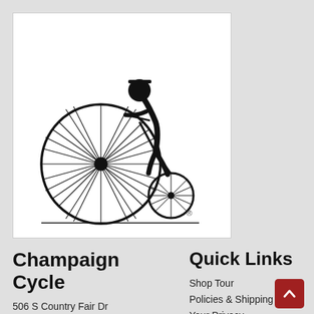[Figure (logo): Vintage penny-farthing bicycle with a person in old-fashioned attire pushing the large front wheel; registered trademark symbol shown. Black and white illustration on white background.]
Champaign Cycle
506 S Country Fair Dr
Champaign, IL 61821
Quick Links
Shop Tour
Policies & Shipping
Your Privacy
Questions & Comments